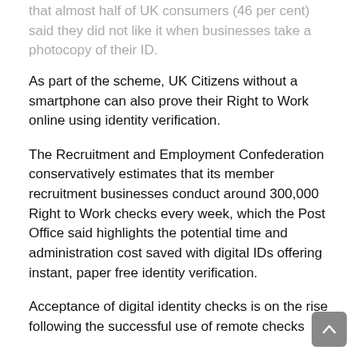that almost half of UK consumers (46 per cent) said they did not like it when businesses take a photocopy of their ID.
As part of the scheme, UK Citizens without a smartphone can also prove their Right to Work online using identity verification.
The Recruitment and Employment Confederation conservatively estimates that its member recruitment businesses conduct around 300,000 Right to Work checks every week, which the Post Office said highlights the potential time and administration cost saved with digital IDs offering instant, paper free identity verification.
Acceptance of digital identity checks is on the rise following the successful use of remote checks